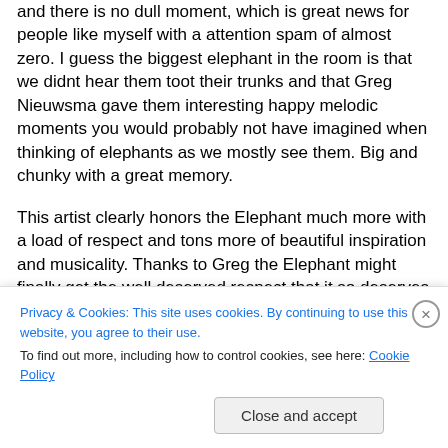and there is no dull moment, which is great news for people like myself with a attention spam of almost zero. I guess the biggest elephant in the room is that we didnt hear them toot their trunks and that Greg Nieuwsma gave them interesting happy melodic moments you would probably not have imagined when thinking of elephants as we mostly see them. Big and chunky with a great memory.

This artist clearly honors the Elephant much more with a load of respect and tons more of beautiful inspiration and musicality. Thanks to Greg the Elephant might finally get the well deserved respect that it so deserves & we should
Privacy & Cookies: This site uses cookies. By continuing to use this website, you agree to their use.
To find out more, including how to control cookies, see here: Cookie Policy
Close and accept